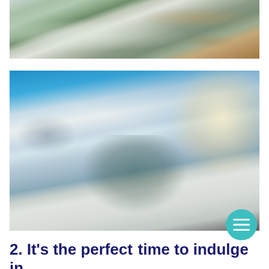[Figure (photo): Aerial view of a snowy mountain road winding through a winter landscape, with snow-covered terrain and rocky hillsides visible from above.]
[Figure (photo): A skier wearing a teal jacket, helmet, and blue ski goggles posing with arms outstretched on a snowy ski slope with bright sunlight and blue sky in the background. Another skier visible in the distance.]
2. It's the perfect time to indulge in